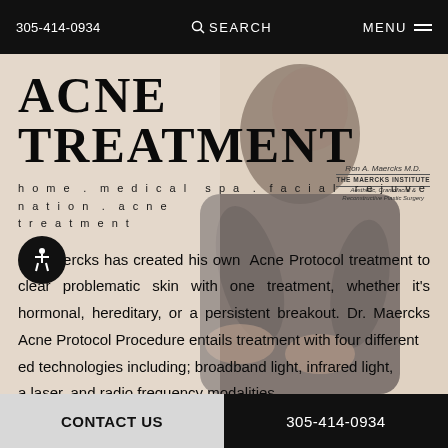305-414-0934   SEARCH   MENU
[Figure (photo): Background photo of Dr. Maercks in dark scrubs, working, slightly blurred]
ACNE TREATMENT
home . medical spa . facial rejuvenation . acne treatment
Dr. Maercks has created his own Acne Protocol treatment to clear problematic skin with one treatment, whether it's hormonal, hereditary, or a persistent breakout. Dr. Maercks Acne Protocol Procedure entails treatment with four different [advanced] technologies including; broadband light, infrared light, a laser, and radio frequency modalities.
CONTACT US   305-414-0934